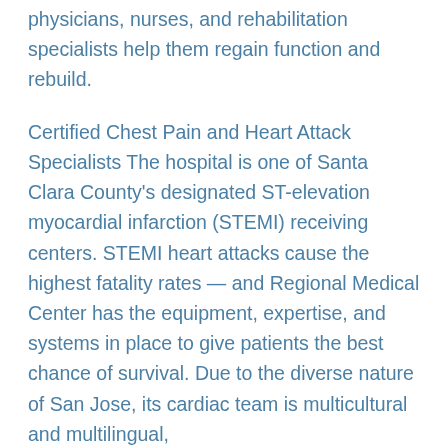physicians, nurses, and rehabilitation specialists help them regain function and rebuild.
Certified Chest Pain and Heart Attack Specialists The hospital is one of Santa Clara County's designated ST-elevation myocardial infarction (STEMI) receiving centers. STEMI heart attacks cause the highest fatality rates — and Regional Medical Center has the equipment, expertise, and systems in place to give patients the best chance of survival. Due to the diverse nature of San Jose, its cardiac team is multicultural and multilingual,